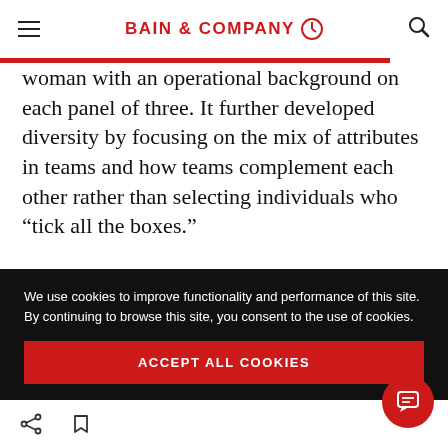BAIN & COMPANY
woman with an operational background on each panel of three. It further developed diversity by focusing on the mix of attributes in teams and how teams complement each other rather than selecting individuals who “tick all the boxes.”

In parallel, BHP Billiton offered flexible working
We use cookies to improve functionality and performance of this site. By continuing to browse this site, you consent to the use of cookies.
ACCEPT ALL COOKIES